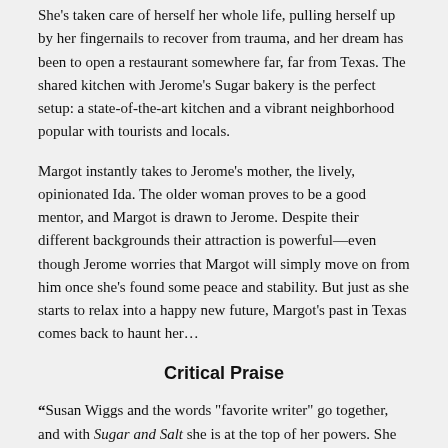She's taken care of herself her whole life, pulling herself up by her fingernails to recover from trauma, and her dream has been to open a restaurant somewhere far, far from Texas. The shared kitchen with Jerome's Sugar bakery is the perfect setup: a state-of-the-art kitchen and a vibrant neighborhood popular with tourists and locals.
Margot instantly takes to Jerome's mother, the lively, opinionated Ida. The older woman proves to be a good mentor, and Margot is drawn to Jerome. Despite their different backgrounds their attraction is powerful—even though Jerome worries that Margot will simply move on from him once she's found some peace and stability. But just as she starts to relax into a happy new future, Margot's past in Texas comes back to haunt her…
Critical Praise
“Susan Wiggs and the words "favorite writer" go together, and with Sugar and Salt she is at the top of her powers. She understands the tender dramas of everyday life, of friendship and family, of wanting something that might be just beyond reach--and then again might not. I loved her character Margot Salter, and my heart soared and broke and soared again to learn the secrets of her past and how they threaten her hard-won present. Susan writes so deliciously about food, love, and